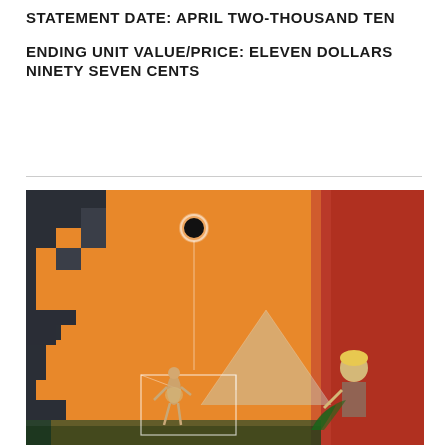STATEMENT DATE: APRIL TWO-THOUSAND TEN
ENDING UNIT VALUE/PRICE: ELEVEN DOLLARS NINETY SEVEN CENTS
[Figure (illustration): A stylized painting depicting an Egyptian or surrealist scene with an orange background. On the left are dark geometric staircase/zigzag architectural forms. In the center background is a translucent pyramid. At the top center is a solar eclipse (black circle with white corona). In the center foreground is a female dancer wearing light-colored clothing. On the right side is a red panel with a young blond boy. There are geometric white line constructions in the lower center of the image.]